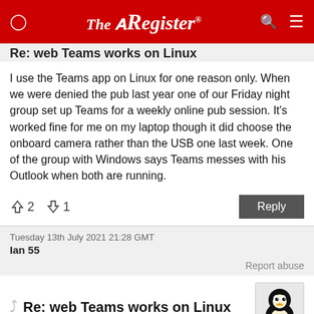The Register
Re: web Teams works on Linux
I use the Teams app on Linux for one reason only. When we were denied the pub last year one of our Friday night group set up Teams for a weekly online pub session. It's worked fine for me on my laptop though it did choose the onboard camera rather than the USB one last week. One of the group with Windows says Teams messes with his Outlook when both are running.
↑2  ↓1   Reply
Tuesday 13th July 2021 21:28 GMT
Ian 55
Report abuse
Re: web Teams works on Linux
It is great to know that I am not the only one who cannot get Teams to work on Linux properly, it